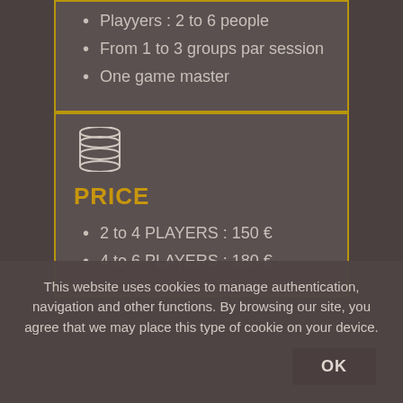Playyers : 2 to 6 people
From 1 to 3 groups par session
One game master
[Figure (illustration): Database/coins stack icon in white outline style]
PRICE
2 to 4 PLAYERS : 150 €
4 to 6 PLAYERS : 180 €
This website uses cookies to manage authentication, navigation and other functions. By browsing our site, you agree that we may place this type of cookie on your device.